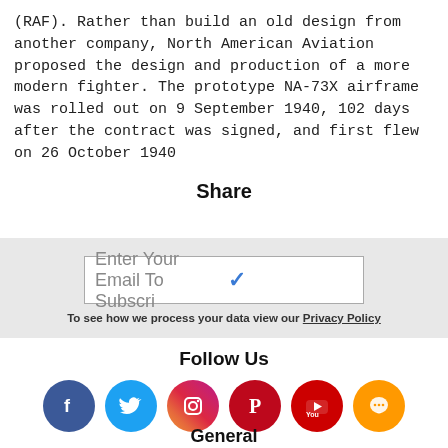(RAF). Rather than build an old design from another company, North American Aviation proposed the design and production of a more modern fighter. The prototype NA-73X airframe was rolled out on 9 September 1940, 102 days after the contract was signed, and first flew on 26 October 1940
Share
Enter Your Email To Subscri
To see how we process your data view our Privacy Policy
Follow Us
[Figure (infographic): Six social media icon circles: Facebook (dark blue), Twitter (light blue), Instagram (pink/magenta), Pinterest (red), YouTube (red), and a chat/comment bubble (orange)]
General
About Us